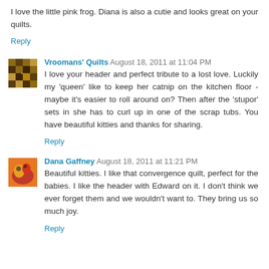I love the little pink frog. Diana is also a cutie and looks great on your quilts.
Reply
Vroomans' Quilts  August 18, 2011 at 11:04 PM
I love your header and perfect tribute to a lost love. Luckily my 'queen' like to keep her catnip on the kitchen floor - maybe it's easier to roll around on? Then after the 'stupor' sets in she has to curl up in one of the scrap tubs. You have beautiful kitties and thanks for sharing.
Reply
Dana Gaffney  August 18, 2011 at 11:21 PM
Beautiful kitties. I like that convergence quilt, perfect for the babies. I like the header with Edward on it. I don't think we ever forget them and we wouldn't want to. They bring us so much joy.
Reply